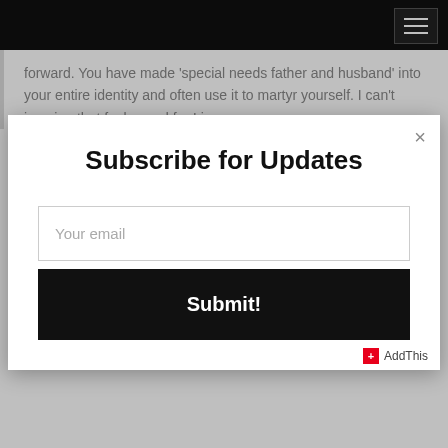forward. You have made ‘special needs father and husband’ into your entire identity and often use it to martyr yourself. I can’t imagine that feels good for Lizz
Subscribe for Updates
Your email
Submit!